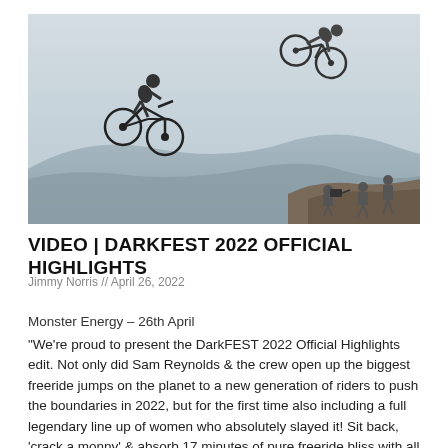[Figure (photo): Two mountain bike riders performing aerial tricks/jumps against a hazy sky with silhouetted hills in background. Camera crew visible on rocks in lower right corner. One rider on left side mid-jump, another rider upper right performing a trick. Misty/foggy atmospheric lighting.]
VIDEO | DARKFEST 2022 OFFICIAL HIGHLIGHTS
Jimmy Norris // April 26, 2022
Monster Energy – 26th April
"We're proud to present the DarkFEST 2022 Official Highlights edit. Not only did Sam Reynolds & the crew open up the biggest freeride jumps on the planet to a new generation of riders to push the boundaries in 2022, but for the first time also including a full legendary line up of women who absolutely slayed it! Sit back, 'crack a monny' & absorb 17 minutes of pure freeride bliss with all the